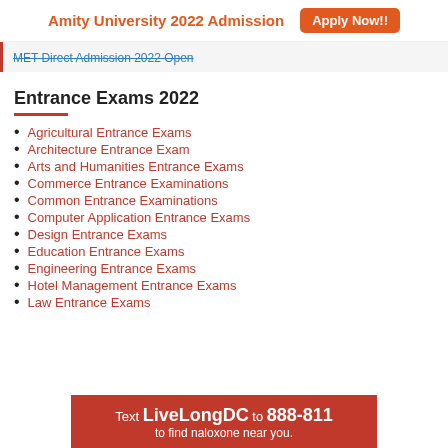Amity University 2022 Admission   Apply Now!!
MET Direct Admission 2022 Open
Entrance Exams 2022
Agricultural Entrance Exams
Architecture Entrance Exam
Arts and Humanities Entrance Exams
Commerce Entrance Examinations
Common Entrance Examinations
Computer Application Entrance Exams
Design Entrance Exams
Education Entrance Exams
Engineering Entrance Exams
Hotel Management Entrance Exams
Law Entrance Exams
[Figure (infographic): Advertisement: Text LiveLongDC to 888-811 to find naloxone near you.]